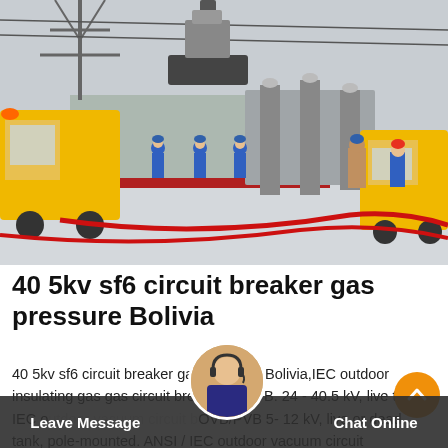[Figure (photo): Outdoor electrical substation scene in winter/icy conditions. Workers in blue uniforms and helmets operate near high-voltage equipment. A yellow crane/bucket truck lifts equipment near power lines and transformers. Yellow utility vehicles are visible. Red hoses/cables on snow-covered ground.]
40 5kv sf6 circuit breaker gas pressure Bolivia
40 5kv sf6 circuit breaker gas pressure Bolivia,IEC outdoor insulating gas gas circuit breaker LW36B. 24 - 40.5 kV, live tank. IEC outdoor vacuum circuit breaker OVB/PVB 5- 12 kV, live or dead tank, pole-mounted. ANSI / IEC outdoor vacuum circuit